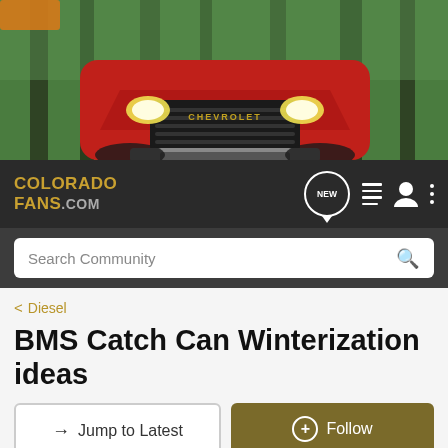[Figure (photo): Red Chevrolet Colorado ZR2 truck in a forest setting, front view showing grille and headlights]
COLORADO FANS.COM
Search Community
< Diesel
BMS Catch Can Winterization ideas
→ Jump to Latest
+ Follow
Hey Everyone! Enter your ride HERE to be a part of this months Ride of the Month Challenge!